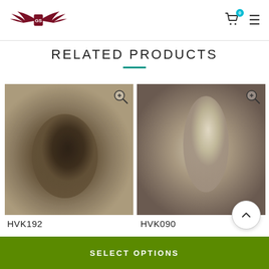[Figure (logo): GS wings logo in dark red/maroon with stylized wings and shield]
[Figure (other): Shopping cart icon with badge showing 0, and hamburger menu icon]
RELATED PRODUCTS
[Figure (photo): Product photo for HVK192 - blurred dark earthy tones product image]
[Figure (photo): Product photo for HVK090 - blurred lighter tones product image]
HVK192
HVK090
SELECT OPTIONS